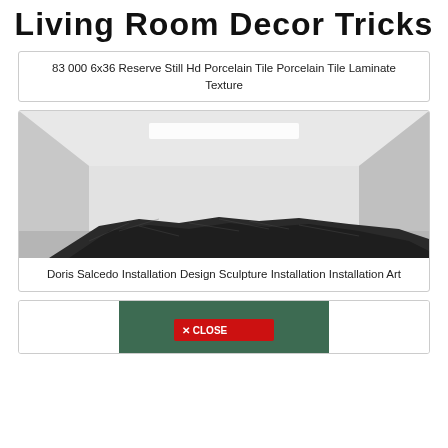Living Room Decor Tricks
83 000 6x36 Reserve Still Hd Porcelain Tile Porcelain Tile Laminate Texture
[Figure (photo): Black and white photo of a minimalist white room with a dark crumpled textile/fabric sculpture on the floor]
Doris Salcedo Installation Design Sculpture Installation Installation Art
[Figure (photo): Partial view of a green/teal colored image with a red CLOSE button overlay]